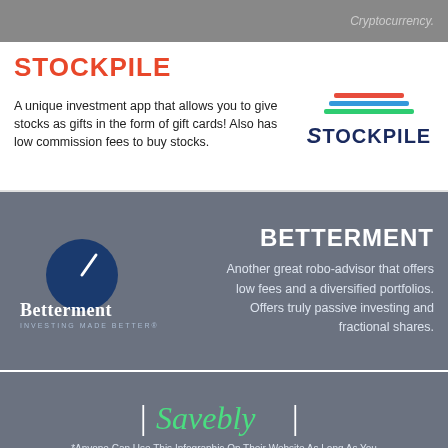Cryptocurrency.
STOCKPILE
A unique investment app that allows you to give stocks as gifts in the form of gift cards! Also has low commission fees to buy stocks.
[Figure (logo): Stockpile logo with colored lines above the text]
BETTERMENT
[Figure (logo): Betterment logo with gauge icon and text 'Betterment INVESTING MADE BETTER']
Another great robo-advisor that offers low fees and a diversified portfolios. Offers truly passive investing and fractional shares.
Sources: https://www.Acorns.com/ http://Robinhood.com/ https://www.stashinvest.com/ https://us.etrade.com/home https://www.schwab.com/ https://www.wealthfront.com/ https://www.coinbase.com/ https://www.stockpile.com/ https://www.betterment.com/
[Figure (logo): Savebly logo with green italic text and white pipe characters]
*Anyone Can Use This Infographic On Their Website As Long As You Link Back To Savebly.com